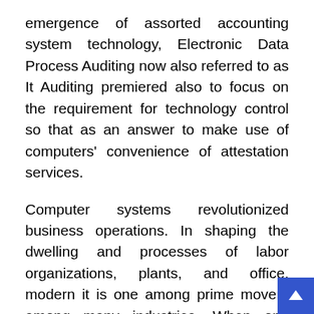emergence of assorted accounting system technology, Electronic Data Process Auditing now also referred to as It Auditing premiered also to focus on the requirement for technology control so that as an answer to make use of computers' convenience of attestation services.
Computer systems revolutionized business operations. In shaping the dwelling and processes of labor organizations, plants, and office, modern it is one among prime movers among many industries. When one discusses technology, it raises an entire exciting realm of computers and also the Internet. Additionally, it prompts terms like server, intranet, security, firewall and network. Other terms in the jargon are Ethernet, Voice over internet protocol and